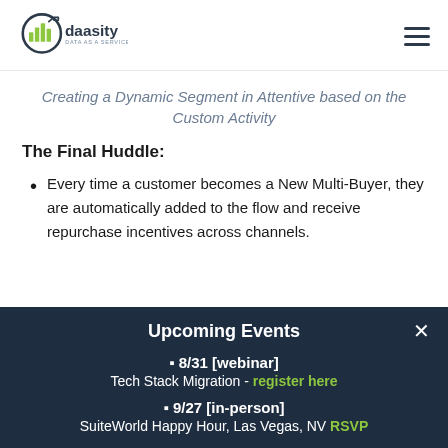[Figure (logo): Daasity logo — circular bar chart icon in dark navy/green with text 'daasity DATA AS A SERVICE']
Creating a Dynamic Segment in Attentive based on the Custom Activity
The Final Huddle:
Every time a customer becomes a New Multi-Buyer, they are automatically added to the flow and receive repurchase incentives across channels.
Upcoming Events
🟩 8/31 [webinar] Tech Stack Migration - register here
🟩 9/27 [in-person] SuiteWorld Happy Hour, Las Vegas, NV RSVP